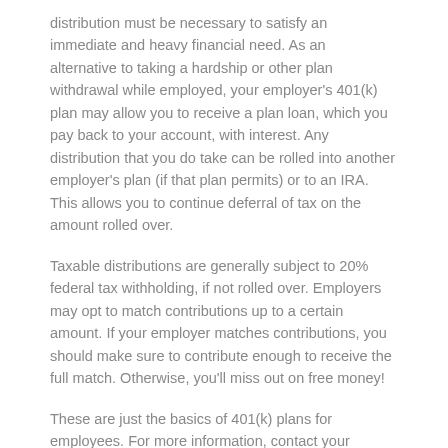distribution must be necessary to satisfy an immediate and heavy financial need. As an alternative to taking a hardship or other plan withdrawal while employed, your employer's 401(k) plan may allow you to receive a plan loan, which you pay back to your account, with interest. Any distribution that you do take can be rolled into another employer's plan (if that plan permits) or to an IRA. This allows you to continue deferral of tax on the amount rolled over.
Taxable distributions are generally subject to 20% federal tax withholding, if not rolled over. Employers may opt to match contributions up to a certain amount. If your employer matches contributions, you should make sure to contribute enough to receive the full match. Otherwise, you'll miss out on free money!
These are just the basics of 401(k) plans for employees. For more information, contact your employer. Of course, we can answer any tax questions you may have.